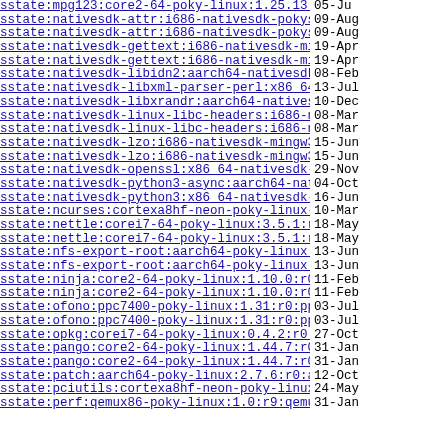sstate:mpg123:core2-64-poky-linux:1.25.13:r0:co..> 05-Ju
sstate:nativesdk-attr:i686-nativesdk-pokysdk-li..> 09-Aug
sstate:nativesdk-attr:i686-nativesdk-pokysdk-li..> 09-Aug
sstate:nativesdk-gettext:i686-nativesdk-mingw32..> 19-Apr
sstate:nativesdk-gettext:i686-nativesdk-mingw32..> 19-Apr
sstate:nativesdk-libidn2:aarch64-nativesdk-poky..> 08-Feb
sstate:nativesdk-libxml-parser-perl:x86_64-nati..> 13-Jul
sstate:nativesdk-libxrandr:aarch64-nativesdk-po..> 10-Dec
sstate:nativesdk-linux-libc-headers:i686-native..> 08-Mar
sstate:nativesdk-linux-libc-headers:i686-native..> 08-Mar
sstate:nativesdk-lzo:i686-nativesdk-mingw32-pok..> 15-Jun
sstate:nativesdk-lzo:i686-nativesdk-mingw32-pok..> 15-Jun
sstate:nativesdk-openssl:x86_64-nativesdk-pokys..> 29-Nov
sstate:nativesdk-python3-async:aarch64-nativesd..> 04-Oct
sstate:nativesdk-python3:x86_64-nativesdk-pokys..> 16-Jun
sstate:ncurses:cortexa8hf-neon-poky-linux-gnuea..> 10-Mar
sstate:nettle:corei7-64-poky-linux:3.5.1:r0:cor..> 18-May
sstate:nettle:corei7-64-poky-linux:3.5.1:r0:cor..> 18-May
sstate:nfs-export-root:aarch64-poky-linux:1.0:r..> 13-Jun
sstate:nfs-export-root:aarch64-poky-linux:1.0:r..> 13-Jun
sstate:ninja:core2-64-poky-linux:1.10.0:r0:core..> 11-Feb
sstate:ninja:core2-64-poky-linux:1.10.0:r0:core..> 11-Feb
sstate:ofono:ppc7400-poky-linux:1.31:r0:ppc7400..> 03-Jul
sstate:ofono:ppc7400-poky-linux:1.31:r0:ppc7400..> 03-Jul
sstate:opkg:corei7-64-poky-linux:0.4.2:r0:corei..> 27-Oct
sstate:pango:core2-64-poky-linux:1.44.7:r0:core..> 31-Jan
sstate:pango:core2-64-poky-linux:1.44.7:r0:core..> 31-Jan
sstate:patch:aarch64-poky-linux:2.7.6:r0:aarch6..> 12-Oct
sstate:pciutils:cortexa8hf-neon-poky-linux-gnue..> 24-May
sstate:perf:qemux86-poky-linux:1.0:r9:qemux86:3..> 31-Jan